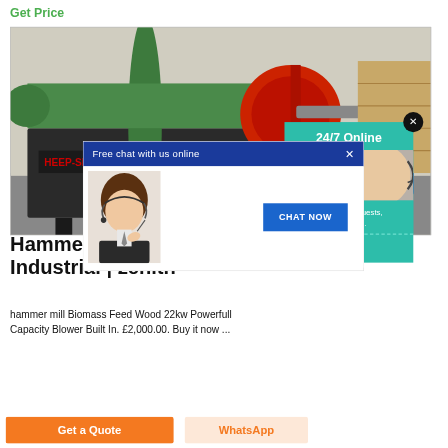Get Price
[Figure (photo): Industrial hammer mill machinery with green and red rollers in a factory/workshop setting]
[Figure (screenshot): Live chat popup overlay with blue header 'Free chat with us online', customer service agent photo, and 'CHAT NOW' button]
[Figure (screenshot): 24/7 Online support panel in teal, showing close button, call center agent photo, 'Have any requests, click here.' text, and Quotation button]
Hammer Mill: Business, Office & Industrial | zenith
hammer mill Biomass Feed Wood 22kw Powerfull Capacity Blower Built In. £2,000.00. Buy it now ...
Get a Quote
WhatsApp